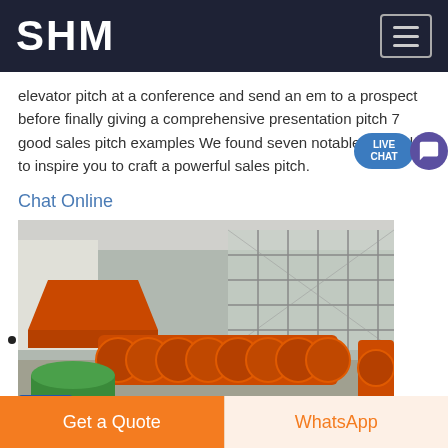SHM
elevator pitch at a conference and send an em to a prospect before finally giving a comprehensive presentation pitch 7 good sales pitch examples We found seven notable examples to inspire you to craft a powerful sales pitch.
Chat Online
[Figure (photo): Industrial machinery in a factory warehouse showing orange spiral/screw conveyor equipment and other orange metal industrial machines with a green motor component and blue electric motor visible in the foreground.]
Get a Quote | WhatsApp